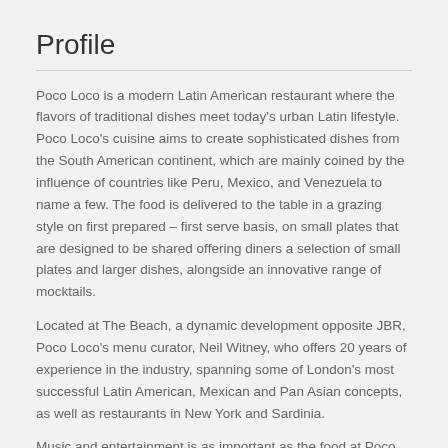Profile
Poco Loco is a modern Latin American restaurant where the flavors of traditional dishes meet today's urban Latin lifestyle. Poco Loco's cuisine aims to create sophisticated dishes from the South American continent, which are mainly coined by the influence of countries like Peru, Mexico, and Venezuela to name a few. The food is delivered to the table in a grazing style on first prepared – first serve basis, on small plates that are designed to be shared offering diners a selection of small plates and larger dishes, alongside an innovative range of mocktails.
Located at The Beach, a dynamic development opposite JBR, Poco Loco's menu curator, Neil Witney, who offers 20 years of experience in the industry, spanning some of London's most successful Latin American, Mexican and Pan Asian concepts, as well as restaurants in New York and Sardinia.
Music and entertainment is as important as the food at Poco